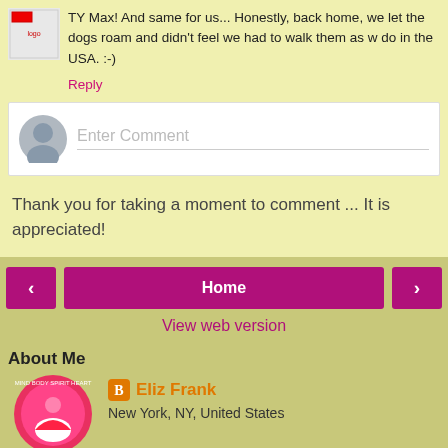TY Max! And same for us... Honestly, back home, we let the dogs roam and didn't feel we had to walk them as w do in the USA. :-)
Reply
[Figure (screenshot): Enter Comment input box with gray avatar icon]
Thank you for taking a moment to comment ... It is appreciated!
[Figure (infographic): Navigation buttons: left arrow, Home, right arrow]
View web version
About Me
Eliz Frank
New York, NY, United States